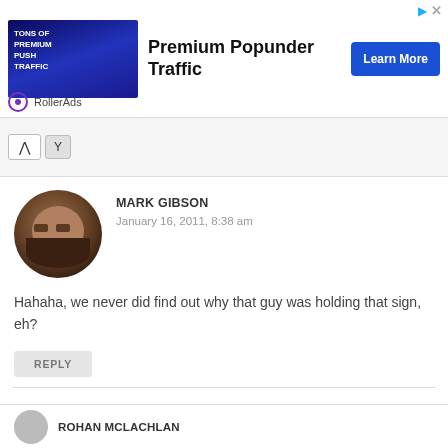[Figure (screenshot): Advertisement banner for RollerAds Premium Popunder Traffic with Learn More button]
MARK GIBSON
January 16, 2011, 8:38 am
Hahaha, we never did find out why that guy was holding that sign, eh?
REPLY
ROHAN MCLACHLAN